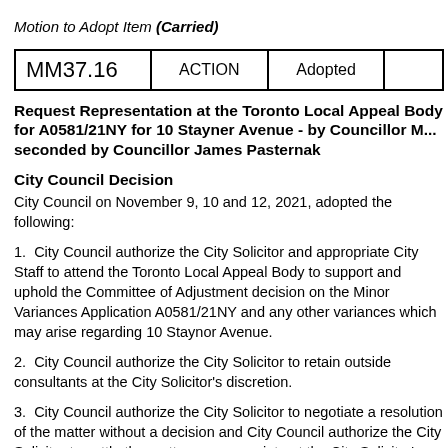Motion to Adopt Item (Carried)
| MM37.16 | ACTION | Adopted |  |
| --- | --- | --- | --- |
Request Representation at the Toronto Local Appeal Body for A0581/21NY for 10 Stayner Avenue - by Councillor M..., seconded by Councillor James Pasternak
City Council Decision
City Council on November 9, 10 and 12, 2021, adopted the following:
1.  City Council authorize the City Solicitor and appropriate City Staff to attend the Toronto Local Appeal Body to support and uphold the Committee of Adjustment decision on the Minor Variances Application A0581/21NY and any other variances which may arise regarding 10 Staynor Avenue.
2.  City Council authorize the City Solicitor to retain outside consultants at the City Solicitor's discretion.
3.  City Council authorize the City Solicitor to negotiate a resolution of the matter without a decision and City Council authorize the City Solicitor to settle the matter as appropriate at the City Solicitor's discretion after consultation with the Ward Councillor.